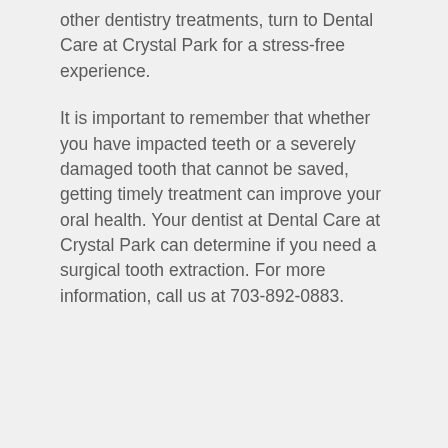other dentistry treatments, turn to Dental Care at Crystal Park for a stress-free experience.
It is important to remember that whether you have impacted teeth or a severely damaged tooth that cannot be saved, getting timely treatment can improve your oral health. Your dentist at Dental Care at Crystal Park can determine if you need a surgical tooth extraction. For more information, call us at 703-892-0883.